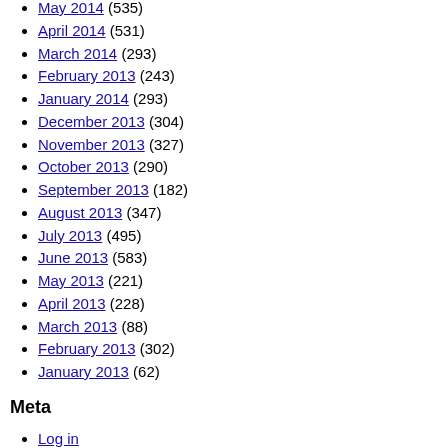May 2014 (535)
April 2014 (531)
March 2014 (293)
February 2013 (243)
January 2014 (293)
December 2013 (304)
November 2013 (327)
October 2013 (290)
September 2013 (182)
August 2013 (347)
July 2013 (495)
June 2013 (583)
May 2013 (221)
April 2013 (228)
March 2013 (88)
February 2013 (302)
January 2013 (62)
Meta
Log in
Entries feed
Comments feed
WordPress.org